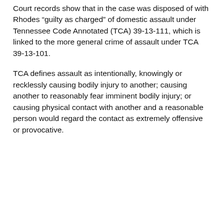Court records show that in the case was disposed of with Rhodes “guilty as charged” of domestic assault under Tennessee Code Annotated (TCA) 39-13-111, which is linked to the more general crime of assault under TCA 39-13-101.
TCA defines assault as intentionally, knowingly or recklessly causing bodily injury to another; causing another to reasonably fear imminent bodily injury; or causing physical contact with another and a reasonable person would regard the contact as extremely offensive or provocative.